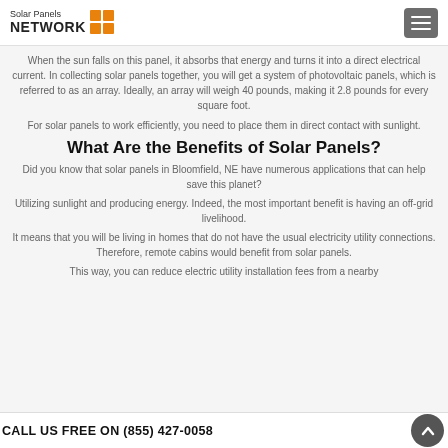Solar Panels NETWORK
When the sun falls on this panel, it absorbs that energy and turns it into a direct electrical current. In collecting solar panels together, you will get a system of photovoltaic panels, which is referred to as an array. Ideally, an array will weigh 40 pounds, making it 2.8 pounds for every square foot.
For solar panels to work efficiently, you need to place them in direct contact with sunlight.
What Are the Benefits of Solar Panels?
Did you know that solar panels in Bloomfield, NE have numerous applications that can help save this planet?
Utilizing sunlight and producing energy. Indeed, the most important benefit is having an off-grid livelihood.
It means that you will be living in homes that do not have the usual electricity utility connections. Therefore, remote cabins would benefit from solar panels.
This way, you can reduce electric utility installation fees from a nearby...
CALL US FREE ON (855) 427-0058